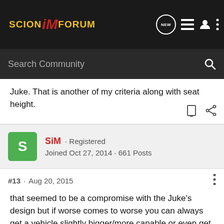Scion iM Forum
Juke. That is another of my criteria along with seat height.
SiM · Registered
Joined Oct 27, 2014 · 661 Posts
#13 · Aug 20, 2015
that seemed to be a compromise with the Juke's design but if worse comes to worse you can always get a vehicle slightly bigger/more capable or even get a roof top carrier, but I rather go the bigger vehicle route.